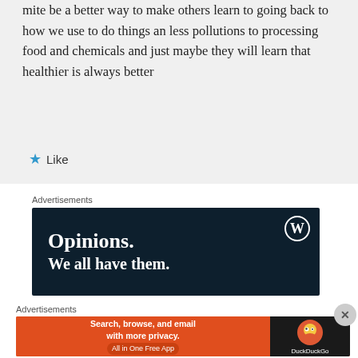mite be a better way to make others learn to going back to how we use to do things an less pollutions to processing food and chemicals and just maybe they will learn that healthier is always better
★ Like
Advertisements
[Figure (screenshot): WordPress advertisement banner with dark navy background, WordPress logo (W in circle) top right, large white serif text reading 'Opinions.' and 'We all have them!' below]
Advertisements
[Figure (screenshot): DuckDuckGo advertisement banner: orange left side reading 'Search, browse, and email with more privacy. All in One Free App', dark right side with DuckDuckGo logo and text]